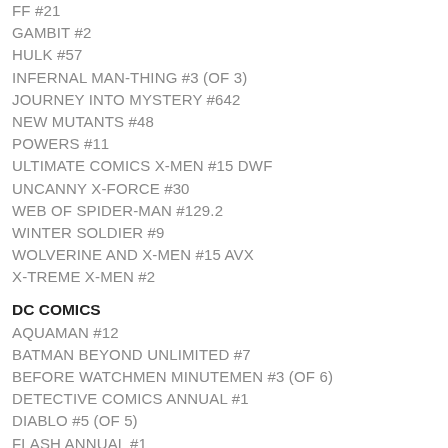FF #21
GAMBIT #2
HULK #57
INFERNAL MAN-THING #3 (OF 3)
JOURNEY INTO MYSTERY #642
NEW MUTANTS #48
POWERS #11
ULTIMATE COMICS X-MEN #15 DWF
UNCANNY X-FORCE #30
WEB OF SPIDER-MAN #129.2
WINTER SOLDIER #9
WOLVERINE AND X-MEN #15 AVX
X-TREME X-MEN #2
DC COMICS
AQUAMAN #12
BATMAN BEYOND UNLIMITED #7
BEFORE WATCHMEN MINUTEMEN #3 (OF 6)
DETECTIVE COMICS ANNUAL #1
DIABLO #5 (OF 5)
FLASH ANNUAL #1
GREEN LANTERN ANNUAL #1